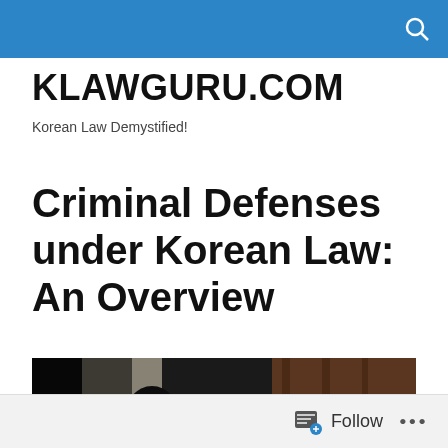KLAWGURU.COM — Korean Law Demystified!
KLAWGURU.COM
Korean Law Demystified!
Criminal Defenses under Korean Law: An Overview
[Figure (photo): Courtroom scene viewed from behind a speaker or attorney addressing a seated audience or jury, dark wood paneling visible in background, dimly lit atmosphere.]
Follow ...